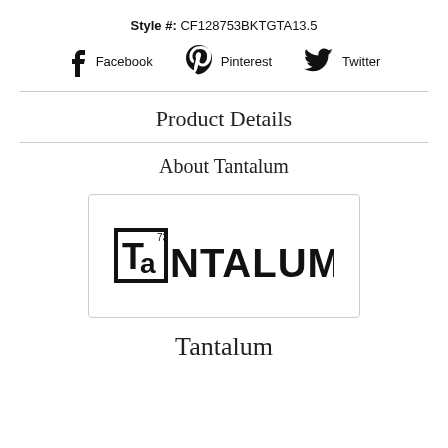Style #: CF128753BKTGTA13.5
[Figure (other): Social media icons row with Facebook, Pinterest, and Twitter icons and labels]
Product Details
About Tantalum
[Figure (logo): Tantalum Forge brand logo — stylized text reading 'TaNTALUM FORGE' with atomic number 73 superscript]
Tantalum